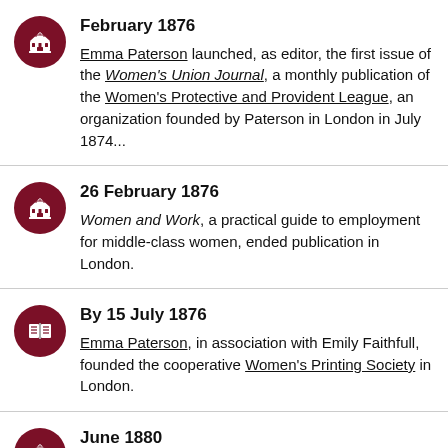February 1876 — Emma Paterson launched, as editor, the first issue of the Women's Union Journal, a monthly publication of the Women's Protective and Provident League, an organization founded by Paterson in London in July 1874...
26 February 1876 — Women and Work, a practical guide to employment for middle-class women, ended publication in London.
By 15 July 1876 — Emma Paterson, in association with Emily Faithfull, founded the cooperative Women's Printing Society in London.
June 1880 — Victoria Magazine, produced by Emily...